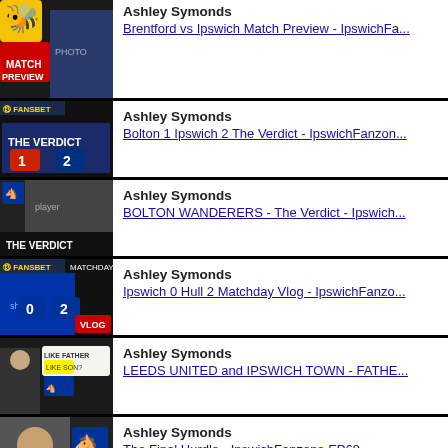Ashley Symonds
Brentford vs Ipswich Match Preview - IpswichFa...
Ashley Symonds
Bolton 1 Ipswich 2 The Verdict - IpswichFanzon...
Ashley Symonds
BOLTON WANDERERS - The Verdict - Ipswich...
Ashley Symonds
Ipswich 0 Hull 2 Matchday Vlog - IpswichFanzo...
Ashley Symonds
LEEDS UNITED and IPSWICH TOWN - FATHE...
Ashley Symonds
The Final Hurdle - IpswichFanzone EP69 - 27th...